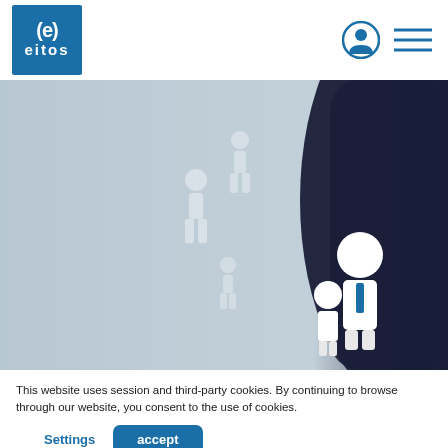[Figure (logo): eitos logo — blue square with '(e)' above 'eitos' in white text]
[Figure (illustration): Navigation icons: user account circle icon and hamburger menu lines in blue]
[Figure (photo): Hero banner photo showing faint white human figure silhouettes on grey background, with a dark-suited person visible on the right side holding white person icons in foreground]
This website uses session and third-party cookies. By continuing to browse through our website, you consent to the use of cookies.
Settings
accept